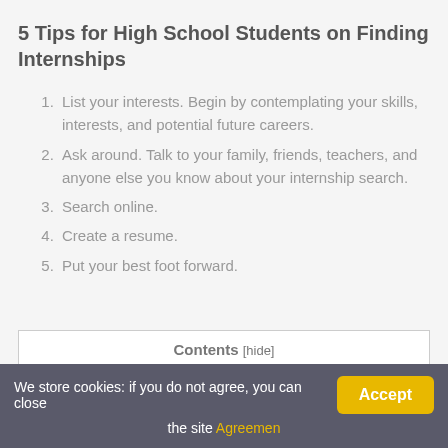5 Tips for High School Students on Finding Internships
List your interests. Begin by contemplating your skills, interests, and potential future careers.
Ask around. Talk to your family, friends, teachers, and anyone else you know about your internship search.
Search online.
Create a resume.
Put your best foot forward.
Contents [hide]
1 What are the best internships for high school students?
2 What do you do at a high school internship?
We store cookies: if you do not agree, you can close the site Agreemen